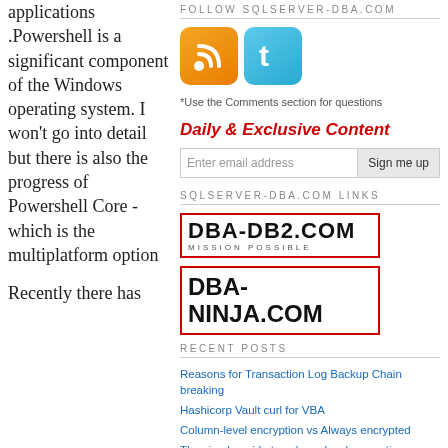applications .Powershell is a significant component of the Windows operating system. I won't go into detail but there is also the progress of Powershell Core - which is the multiplatform option

Recently there has
FOLLOW SQLSERVER-DBA.COM
[Figure (illustration): RSS feed icon (orange gradient square with rounded corners and white RSS symbol) and Twitter icon (blue gradient square with white bird 't' logo)]
*Use the Comments section for questions
Daily & Exclusive Content
Enter email address   Sign me up
SQLSERVER-DBA.COM LINKS
[Figure (logo): DBA-DB2.COM logo with text 'MISSION POSSIBLE' in a red-bordered box]
[Figure (logo): DBA-NINJA.COM logo in bold black text in a red-bordered box]
RECENT POSTS
Reasons for Transaction Log Backup Chain breaking
Hashicorp Vault curl for VBA
Column-level encryption vs Always encrypted
The simple guide to column-level encryption